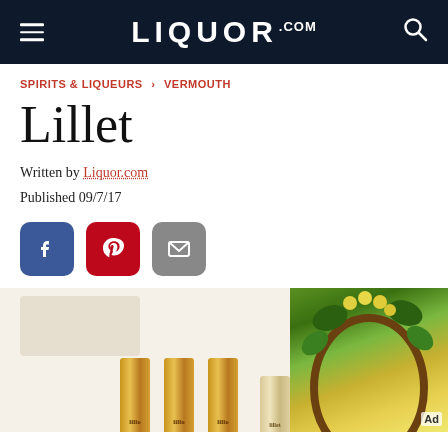LIQUOR.COM
SPIRITS & LIQUEURS › VERMOUTH
Lillet
Written by Liquor.com
Published 09/7/17
[Figure (screenshot): Social share buttons: Facebook, Pinterest, Email]
[Figure (photo): Row of Lillet brand bottles showing gold and cream colored caps/tops, with a partial advertisement image on the right showing green vines/leaves and yellow flowers with 'Ad' label]